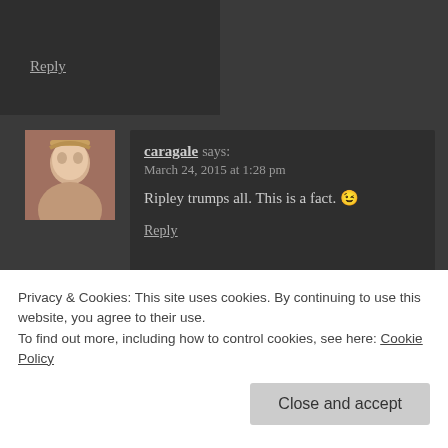Reply
caragale says:
March 24, 2015 at 1:28 pm
Ripley trumps all. This is a fact. 😉
Reply
vinnieh says:
March 24, 2015 at 1:51 pm
Definitely, she's one iconic heroine.
Privacy & Cookies: This site uses cookies. By continuing to use this website, you agree to their use.
To find out more, including how to control cookies, see here: Cookie Policy
Close and accept
March 24, 2015 at 2:03 pm